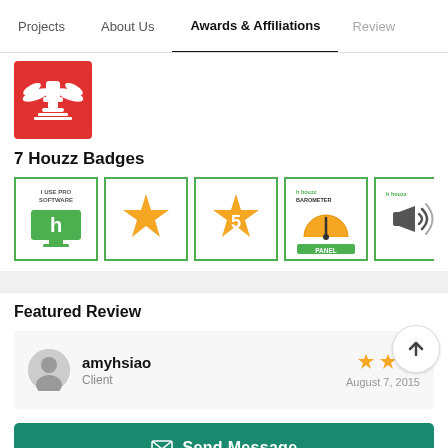Projects | About Us | Awards & Affiliations | Review
[Figure (logo): Red square award badge with white eagle/trophy emblem]
7 Houzz Badges
[Figure (infographic): Row of 6 Houzz badge icons: I Use Pro Software (green monitor), orange star, orange star with 5, Houzz Barometer Panel (orange gauge), Houzz megaphone, Houzz thumbs up]
Featured Review
[Figure (infographic): Review card for amyhsiao, Client, August 7, 2015, with 3 orange stars and an up-arrow circle button]
Send Message